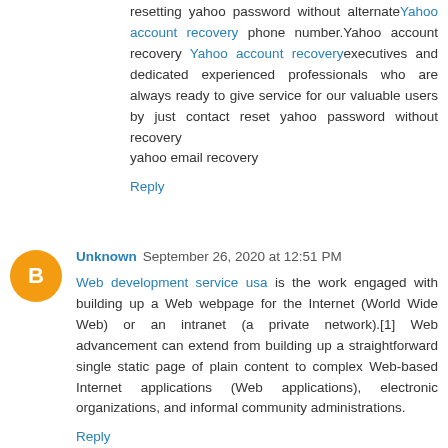resetting yahoo password without alternate Yahoo account recovery phone number.Yahoo account recovery Yahoo account recovery executives and dedicated experienced professionals who are always ready to give service for our valuable users by just contact reset yahoo password without recovery
yahoo email recovery
Reply
Unknown September 26, 2020 at 12:51 PM
Web development service usa is the work engaged with building up a Web webpage for the Internet (World Wide Web) or an intranet (a private network).[1] Web advancement can extend from building up a straightforward single static page of plain content to complex Web-based Internet applications (Web applications), electronic organizations, and informal community administrations.
Reply